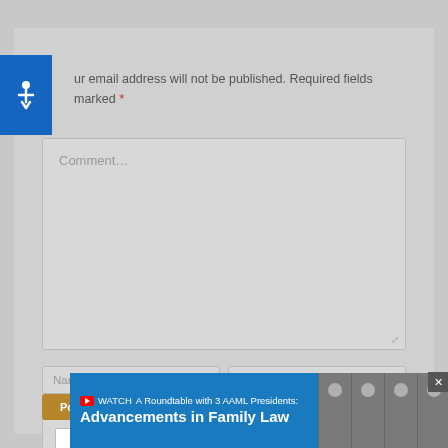Your email address will not be published. Required fields are marked *
[Figure (screenshot): Comment form textarea with placeholder text 'Comment...']
[Figure (screenshot): Name (required) and Email (required) input fields]
[Figure (screenshot): reCAPTCHA widget with checkbox and 'I'm not a robot' label]
[Figure (screenshot): Post comment button (partially visible)]
[Figure (infographic): Banner ad: WATCH A Roundtable with 3 AAML Presidents: Advancements in Family Law, with photos of three people]
[Figure (logo): Accessibility icon button (blue square with wheelchair symbol)]